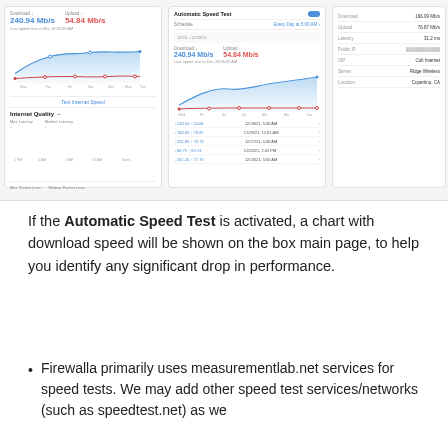[Figure (screenshot): Three-panel screenshot showing Firewalla speed test UI: left panel shows download 240.94 Mb/s and upload 54.84 Mb/s with Internet Quality section; middle panel shows Automatic Speed Test toggle, schedule (Every Day at 5:00 AM), recent speed test results list; right panel shows Download 166.09 Mb/s, Upload 76.87 Mb/s, Latency 31.2 ms, Public IP, ISP: Colt Internet, Server: Ridge Wireless, Location: Cupertino, CA]
If the Automatic Speed Test is activated, a chart with download speed will be shown on the box main page, to help you identify any significant drop in performance.
Firewalla primarily uses measurementlab.net services for speed tests. We may add other speed test services/networks (such as speedtest.net) as we